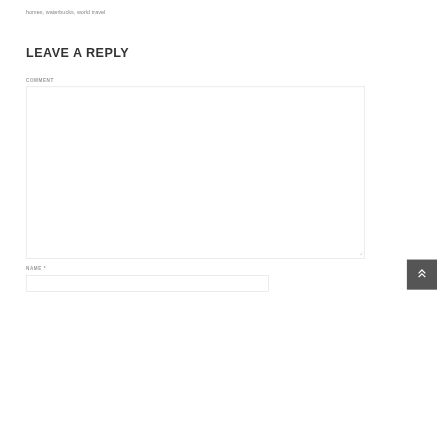homes, waterbucks, world travel
LEAVE A REPLY
COMMENT
NAME *